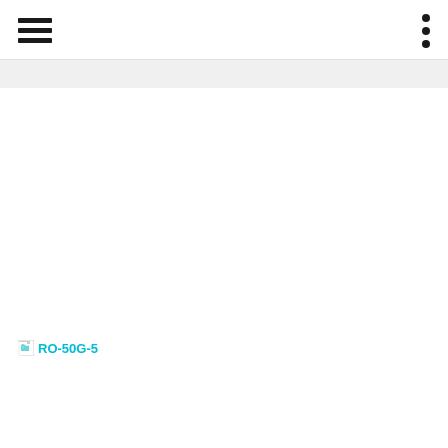Navigation header with hamburger menu and dots menu
[Figure (other): Broken image placeholder labeled RO-50G-5 in teal/cyan color]